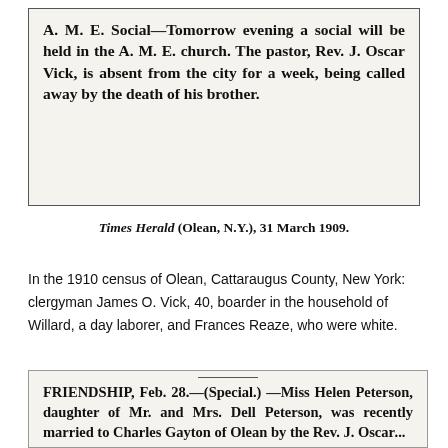[Figure (other): Newspaper clipping from Times Herald (Olean, N.Y.), 31 March 1909, about an A.M.E. Social event and Rev. J. Oscar Vick being absent from the city due to the death of his brother.]
Times Herald (Olean, N.Y.), 31 March 1909.
In the 1910 census of Olean, Cattaraugus County, New York: clergyman James O. Vick, 40, boarder in the household of Willard, a day laborer, and Frances Reaze, who were white.
[Figure (other): Newspaper clipping from Friendship, Feb. 28, (Special.) about Miss Helen Peterson, daughter of Mr. and Mrs. Dell Peterson, who was recently married to Charles Gayton of Olean by the Rev. J. Oscar...]